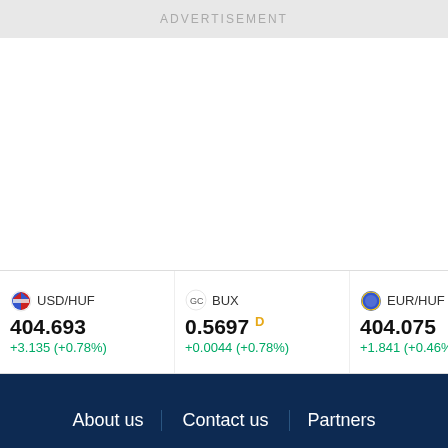ADVERTISEMENT
[Figure (infographic): Financial ticker bar showing USD/HUF at 404.693 (+3.135, +0.78%), BUX at 0.5697 D (+0.0044, +0.78%), EUR/HUF at 404.075 (+1.841, +0.46%), and a partially visible 4th ticker at 3.68 D (+0.44). Markets label visible.]
About us   Contact us   Partners
This website uses cookies to ensure you get the best experience on our website.
Learn more
Decline
Allow cookies